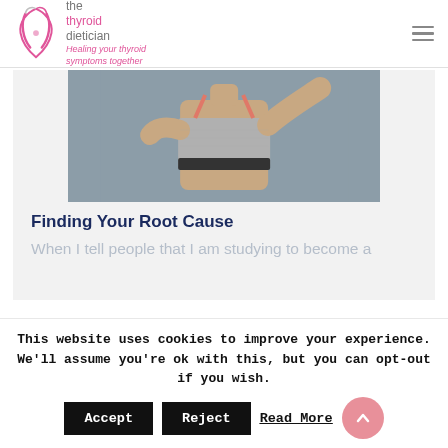the thyroid dietician — Healing your thyroid symptoms together
[Figure (photo): Woman in gray sports bra flexing arm muscles against gray background]
Finding Your Root Cause
When I tell people that I am studying to become a
This website uses cookies to improve your experience. We'll assume you're ok with this, but you can opt-out if you wish.
Accept   Reject   Read More